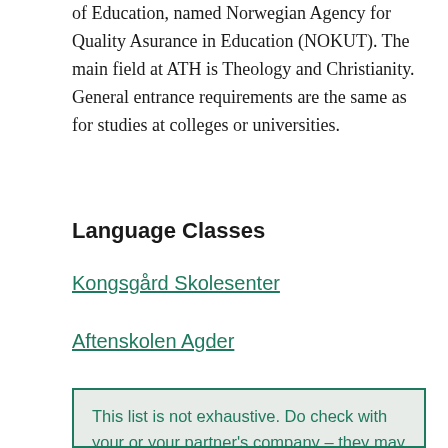of Education, named Norwegian Agency for Quality Asurance in Education (NOKUT). The main field at ATH is Theology and Christianity. General entrance requirements are the same as for studies at colleges or universities.
Language Classes
Kongsgård Skolesenter
Aftenskolen Agder
This list is not exhaustive. Do check with your or your partner's company – they may include Norwegian language classes in your